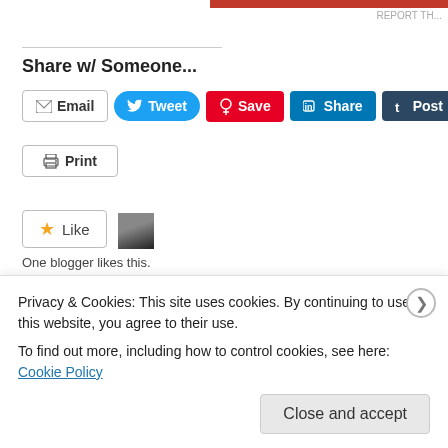Share w/ Someone...
[Figure (screenshot): Row of social share buttons: Email, Tweet, Save (Pinterest), Share (LinkedIn), Post (Tumblr), Pocket]
[Figure (screenshot): Print button]
[Figure (screenshot): Like button with star icon and a blogger avatar thumbnail]
One blogger likes this.
Posted in Mindfulness
Tags: #Abruptly, #acceptance, #announcement, #bad, #BadNews, #badtidings, #battle, #blessings, #boss, #challenge, #chances, #choices, #choiceswemake, #clarity, #co-worker, #constant, #critical, #critique, #discovered, #doctor, #dowhatyouknow, #expect, #field, #following, #frie...
Privacy & Cookies: This site uses cookies. By continuing to use this website, you agree to their use.
To find out more, including how to control cookies, see here: Cookie Policy
[Figure (screenshot): Close and accept button for cookie banner]